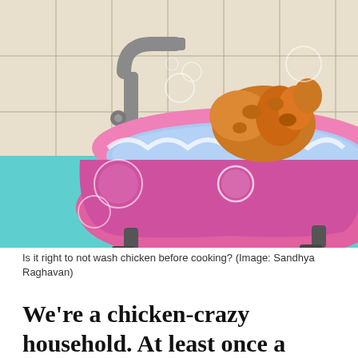[Figure (illustration): Cartoon illustration of a raw chicken sitting in a pink clawfoot bathtub filled with blue soapy water, with bubbles around it. Background shows a tiled bathroom wall in beige with a metal faucet. The floor is turquoise. A hamburger menu icon (three horizontal lines) is visible in the top-left corner.]
Is it right to not wash chicken before cooking? (Image: Sandhya Raghavan)
We're a chicken-crazy household. At least once a week, we'd indulge